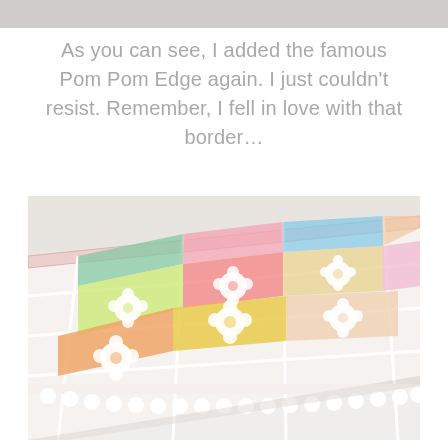[Figure (photo): Top strip of a blurred/cropped image, light gray]
As you can see, I added the famous Pom Pom Edge again. I just couldn't resist. Remember, I fell in love with that border…
[Figure (photo): Close-up photograph of a colorful crochet blanket with granny squares featuring white raised bobble/pom pom flower centers on backgrounds of green, orange, pink, yellow, and blue, with a white pom pom border edge along the bottom.]